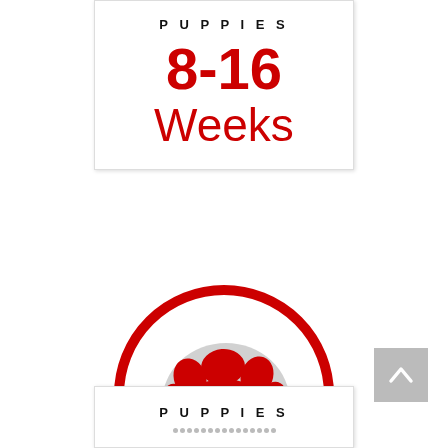PUPPIES
8-16
Weeks
[Figure (illustration): Red paw print icon inside a red circle border on white background]
[Figure (illustration): Grey scroll-up button with upward chevron arrow]
PUPPIES